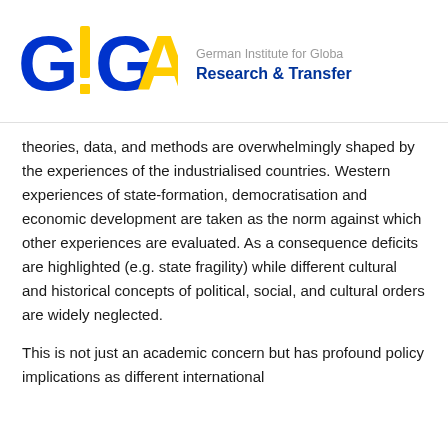[Figure (logo): GIGA logo with blue G, yellow I, blue G, yellow A letters, alongside text 'German Institute for Global & Area Studies' and 'Research & Transfer' in blue]
theories, data, and methods are overwhelmingly shaped by the experiences of the industrialised countries. Western experiences of state-formation, democratisation and economic development are taken as the norm against which other experiences are evaluated. As a consequence deficits are highlighted (e.g. state fragility) while different cultural and historical concepts of political, social, and cultural orders are widely neglected.
This is not just an academic concern but has profound policy implications as different international